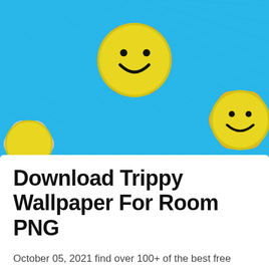[Figure (illustration): Colorful psychedelic smiley face sunflowers on a bright blue background. The flowers have pink, orange, and white petals with yellow centers featuring black smiley faces.]
Download Trippy Wallpaper For Room PNG
October 05, 2021 find over 100+ of the best free psychedelic art images. Check out our trippy wallpaper selection for the very best in unique or custom, handmade pieces from our wall decor